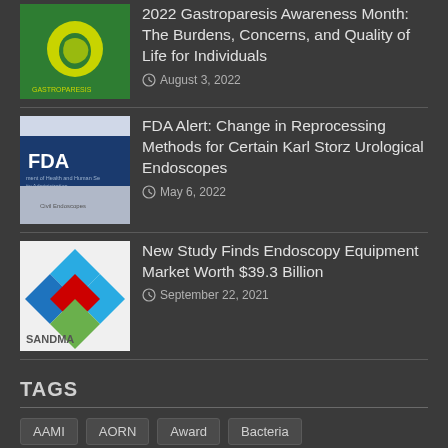[Figure (photo): Gastroparesis Awareness Month logo - green background with yellow circular stomach icon]
2022 Gastroparesis Awareness Month: The Burdens, Concerns, and Quality of Life for Individuals
August 3, 2022
[Figure (photo): FDA sign - dark blue background with FDA logo text and Department of Health and Human Services]
FDA Alert: Change in Reprocessing Methods for Certain Karl Storz Urological Endoscopes
May 6, 2022
[Figure (logo): SandMa logo - diamond pattern with blue, red, green diamonds and SANDMA text]
New Study Finds Endoscopy Equipment Market Worth $39.3 Billion
September 22, 2021
TAGS
AAMI
AORN
Award
Bacteria
BIOCHEMISTRY
Biology
Cancer
CBSPD
Chemotherapy
colon cancer